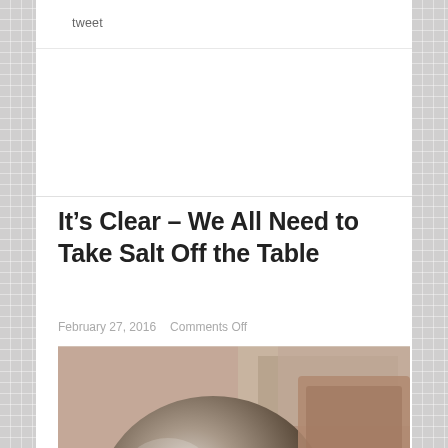tweet
It’s Clear – We All Need to Take Salt Off the Table
February 27, 2016    Comments Off
[Figure (photo): Close-up photo of a stainless steel salt shaker lying on its side with salt spilled out, and a blurred background showing a wooden surface.]
Image credit: Istock After all this time,